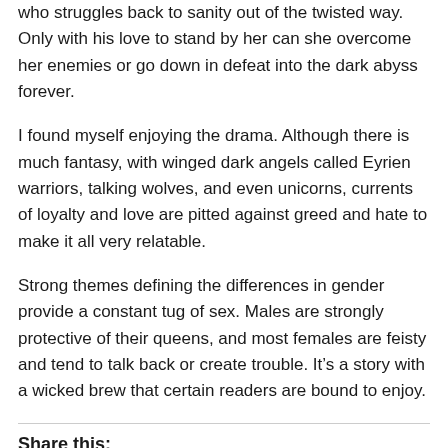who struggles back to sanity out of the twisted way. Only with his love to stand by her can she overcome her enemies or go down in defeat into the dark abyss forever.
I found myself enjoying the drama. Although there is much fantasy, with winged dark angels called Eyrien warriors, talking wolves, and even unicorns, currents of loyalty and love are pitted against greed and hate to make it all very relatable.
Strong themes defining the differences in gender provide a constant tug of sex. Males are strongly protective of their queens, and most females are feisty and tend to talk back or create trouble. It’s a story with a wicked brew that certain readers are bound to enjoy.
Share this: